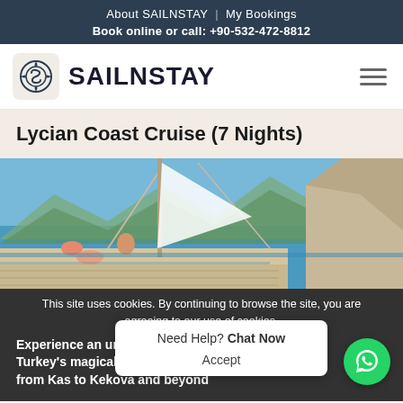About SAILNSTAY | My Bookings
Book online or call: +90-532-472-8812
[Figure (logo): SAILNSTAY logo with circular S icon on beige background and bold dark text SAILNSTAY, with hamburger menu icon on right]
Lycian Coast Cruise (7 Nights)
[Figure (photo): Hero photo of people relaxing on a sailboat deck with blue sea and rocky hillside in background, sunny day]
This site uses cookies. By continuing to browse the site, you are agreeing to our use of cookies.
Experience an unforgettable journey along Turkey's magical Lycian coast — you'll sail from Kas to Kekova and beyond
Need Help? Chat Now
Accept